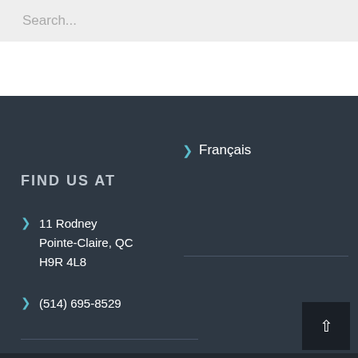Search...
> Français
FIND US AT
11 Rodney
Pointe-Claire, QC
H9R 4L8
(514) 695-8529
[Figure (other): Back to top arrow button (dark square with upward chevron)]